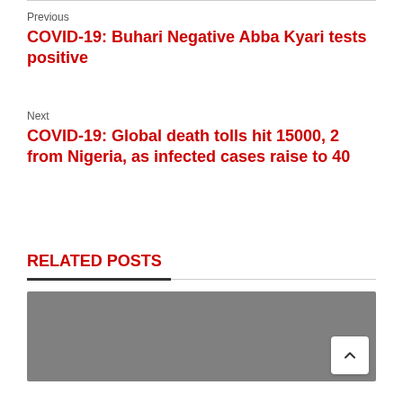Previous
COVID-19: Buhari Negative Abba Kyari tests positive
Next
COVID-19: Global death tolls hit 15000, 2 from Nigeria, as infected cases raise to 40
RELATED POSTS
[Figure (photo): Gray placeholder image for a related post thumbnail]